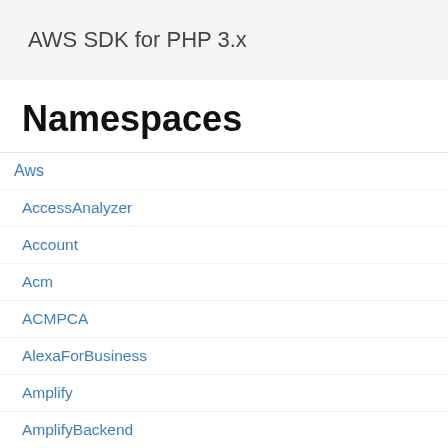AWS SDK for PHP 3.x
Namespaces
Aws
AccessAnalyzer
Account
Acm
ACMPCA
AlexaForBusiness
Amplify
AmplifyBackend
AmplifyUIBuilder
Api
ApiGateway
ApiGatewayManagementApi
message
Required: Yes
Type: string
The error message.
AssetHierarchy
Description
Describes an asset hierarchy by name and ID.
Members